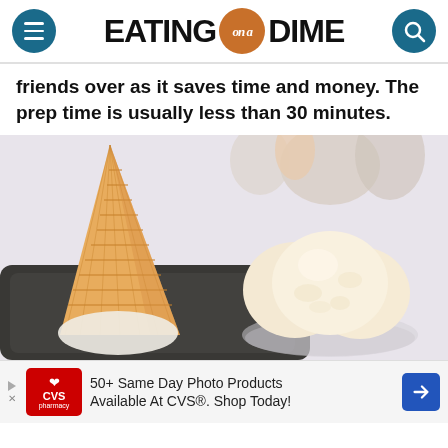EATING on a DIME
friends over as it saves time and money. The prep time is usually less than 30 minutes.
[Figure (photo): A waffle ice cream cone leaning against a dark ice cream scoop tray, and a glass bowl filled with scoops of vanilla ice cream, on a light background with blurred cream-colored containers in the background.]
50+ Same Day Photo Products Available At CVS®. Shop Today!